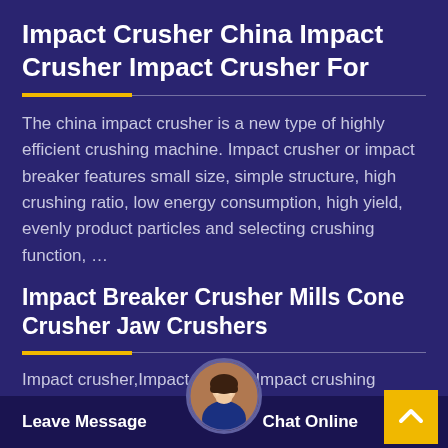Impact Crusher China Impact Crusher Impact Crusher For
The china impact crusher is a new type of highly efficient crushing machine. Impact crusher or impact breaker features small size, simple structure, high crushing ratio, low energy consumption, high yield, evenly product particles and selecting crushing function, …
Impact Breaker Crusher Mills Cone Crusher Jaw Crushers
Impact crusher,Impact breaker,Impact crushing machine china. ... The China Impact Crusher is a new type of highly efficient crushing equipment, with the characteristics of small size, simple structure, high crushing ratio, …